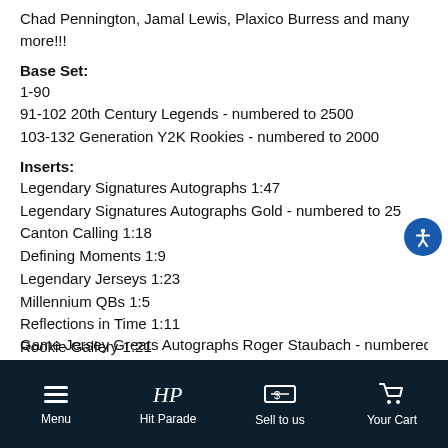Chad Pennington, Jamal Lewis, Plaxico Burress and many more!!!
Base Set:
1-90
91-102 20th Century Legends - numbered to 2500
103-132 Generation Y2K Rookies - numbered to 2000
Inserts:
Legendary Signatures Autographs 1:47
Legendary Signatures Autographs Gold - numbered to 25
Canton Calling 1:18
Defining Moments 1:9
Legendary Jerseys 1:23
Millennium QBs 1:5
Reflections in Time 1:11
Rookie Gallery 1:21
Game Jersey Greats Autographs Roger Staubach - numbered to
Menu | Hit Parade | Sell to us | Your Cart